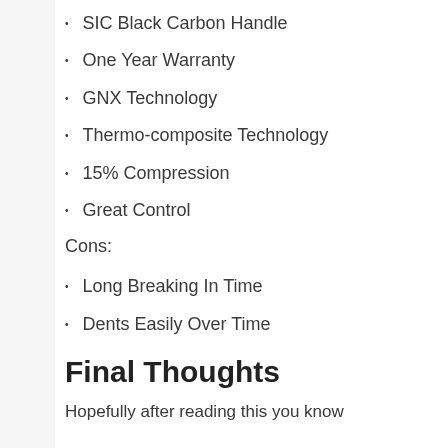SIC Black Carbon Handle
One Year Warranty
GNX Technology
Thermo-composite Technology
15% Compression
Great Control
Cons:
Long Breaking In Time
Dents Easily Over Time
Final Thoughts
Hopefully after reading this you know